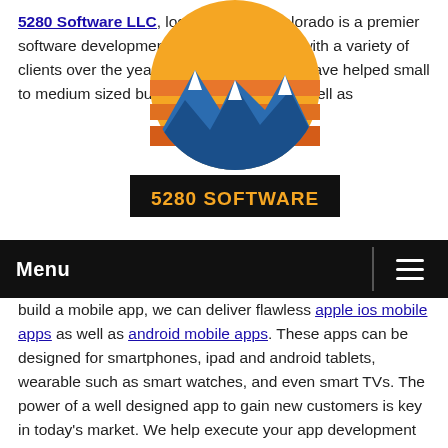5280 Software LLC, located in Colorado is a premier software development firm. We have worked with a variety of clients over the years. Our developers have helped small to medium sized businesses, startups, as well as build a mobile app, we can deliver flawless apple ios mobile apps as well as android mobile apps. These apps can be designed for smartphones, ipad and android tablets, wearable such as smart watches, and even smart TVs. The power of a well designed app to gain new customers is key in today's market. We help execute your app development to perfection. A website is powerful tool for branding and showcasing the products or services you offer. We can build you a WordPress, E-Commerce, or custom coded website at competitive prices.
[Figure (logo): 5280 Software logo: mountain silhouette with a sunset/sun graphic above, orange and blue tones, text '5280 SOFTWARE' in orange below the mountain]
Menu (navigation bar with hamburger menu icon)
Once the site is launched, or if you already have a website, we offer Search Engine Optimization Services to achieve higher search engine rankings. Contact us today with your website's